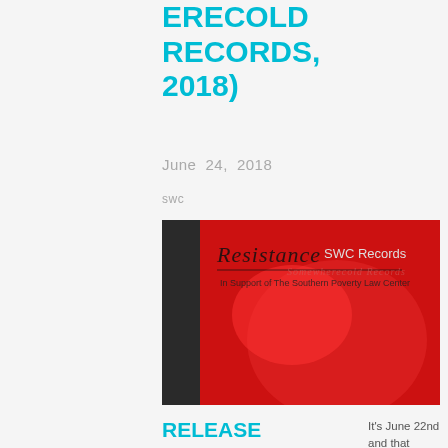ERECOLD RECORDS, 2018)
June 24, 2018
swc
[Figure (photo): Album cover image for Resistance: In Support of The Southern Poverty Law Center - SWC Records. Red background with stylized script text and subtitle text.]
RELEASE DAY! RESISTANCE COMPILATION: IN SUPPORT OF THE SOUTHERN…
It's June 22nd and that means the Somewherecold Records Compilation called Resistance in Support of the Southern Poverty Law Center is out! This is a…